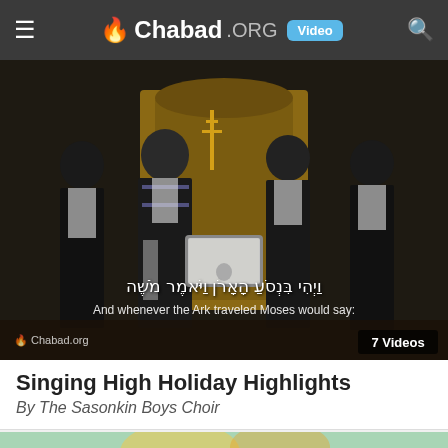Chabad.ORG Video
[Figure (screenshot): Video thumbnail showing four men in a synagogue, one wearing a tallit (prayer shawl), standing at a podium with a laptop. Hebrew text overlay reads the verse about the Ark traveling, with English subtitle 'And whenever the Ark traveled Moses would say.' Badge shows '7 Videos' and Chabad.org watermark.]
Singing High Holiday Highlights
By The Sasonkin Boys Choir
[Figure (illustration): Colorful illustration with musical notes floating on a mint-green textured background with orange and yellow swirling designs, partially visible at bottom of page.]